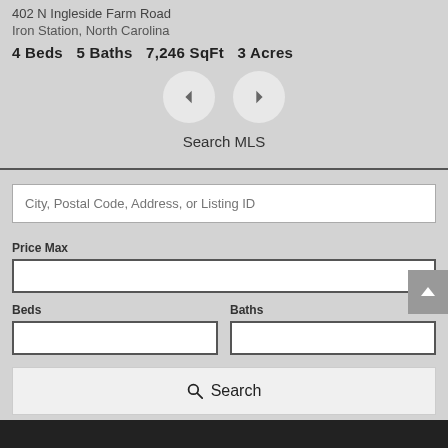402 N Ingleside Farm Road
Iron Station, North Carolina
4 Beds   5 Baths   7,246 SqFt   3 Acres
[Figure (screenshot): Navigation arrows (left and right) for cycling through listing images]
Search MLS
City, Postal Code, Address, or Listing ID
Price Max
Beds
Baths
Search